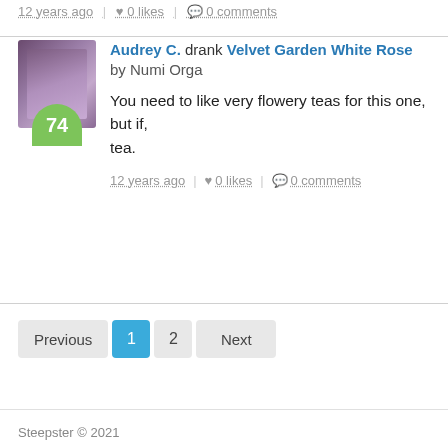12 years ago | 0 likes | 0 comments
[Figure (photo): Product image of Velvet Garden White Rose tea box with score badge showing 74]
Audrey C. drank Velvet Garden White Rose by Numi Orga
You need to like very flowery teas for this one, but if, tea.
12 years ago | 0 likes | 0 comments
Previous 1 2 Next
Steepster © 2021